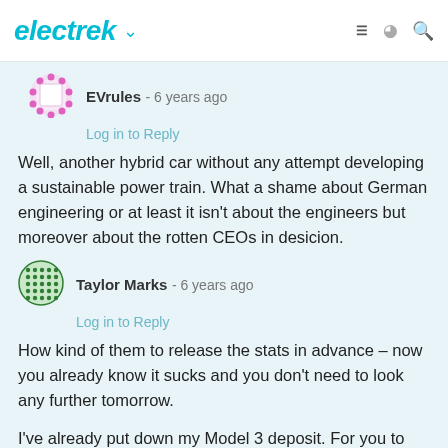electrek
[Figure (illustration): EVrules user avatar - pink/magenta dotted square icon]
EVrules - 6 years ago
Log in to Reply
Well, another hybrid car without any attempt developing a sustainable power train. What a shame about German engineering or at least it isn't about the engineers but moreover about the rotten CEOs in desicion.
[Figure (illustration): Taylor Marks user avatar - green grid/dots pattern circular icon]
Taylor Marks - 6 years ago
Log in to Reply
How kind of them to release the stats in advance – now you already know it sucks and you don't need to look any further tomorrow.
I've already put down my Model 3 deposit. For you to make me change my mind about it, you'll need to manage at least three of the following:
#1    Pure EV with a range of 200+ miles and 0-60 in